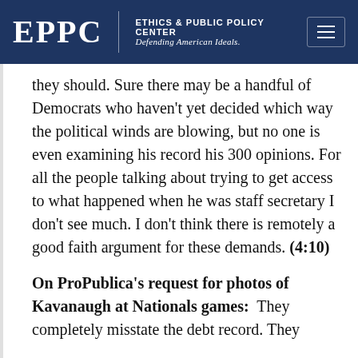EPPC | ETHICS & PUBLIC POLICY CENTER Defending American Ideals.
they should. Sure there may be a handful of Democrats who haven’t yet decided which way the political winds are blowing, but no one is even examining his record his 300 opinions. For all the people talking about trying to get access to what happened when he was staff secretary I don’t see much. I don’t think there is remotely a good faith argument for these demands. (4:10)
On ProPublica’s request for photos of Kavanaugh at Nationals games: They completely misstate the debt record. They